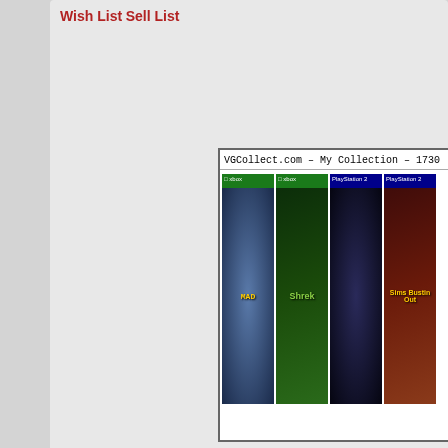Wish List
Sell List
[Figure (screenshot): VGCollect.com My Collection banner showing 1730 items with game box art including MAD, Shrek, a racing game, and The Sims Bustin Out for PS2/Xbox]
Warmsignal
Hero Member
Posts: 2,401
That there is a rare video game, boy
Re: Consoles you had the most and least fun collecting for?
« Reply #23 on: October 18, 2021, 10:03:12 pm
It's a difficult one to answer, because for the most of my platforms, otherwise I wouldn't...
For me, it's hard to deny the fun factor in collecting, because it has always been so widely available, collecting more fun to me. Then again, wh... platforms were also widely available and h... lot of fun collecting any SEGA platform be... was either junk or priced higher than I wa... Saturn and Dreamcast. It was just hard o...